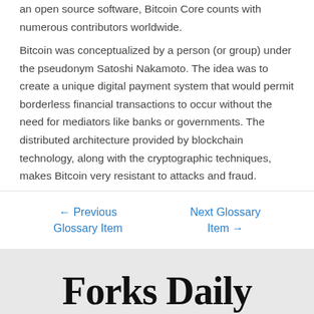an open source software, Bitcoin Core counts with numerous contributors worldwide.
Bitcoin was conceptualized by a person (or group) under the pseudonym Satoshi Nakamoto. The idea was to create a unique digital payment system that would permit borderless financial transactions to occur without the need for mediators like banks or governments. The distributed architecture provided by blockchain technology, along with the cryptographic techniques, makes Bitcoin very resistant to attacks and fraud.
← Previous Glossary Item    Next Glossary Item →
Forks Daily